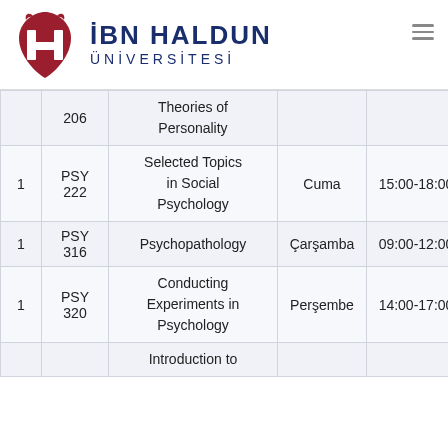[Figure (logo): Ibn Haldun University logo with red stylized H emblem and dark blue university name text]
| # | Code | Course | Day | Time |  |
| --- | --- | --- | --- | --- | --- |
|  | 206 | Theories of Personality |  |  |  |
| 1 | PSY 222 | Selected Topics in Social Psychology | Cuma | 15:00-18:00 |  |
| 1 | PSY 316 | Psychopathology | Çarşamba | 09:00-12:00 | M |
| 1 | PSY 320 | Conducting Experiments in Psychology | Perşembe | 14:00-17:00 |  |
|  |  | Introduction to |  |  |  |